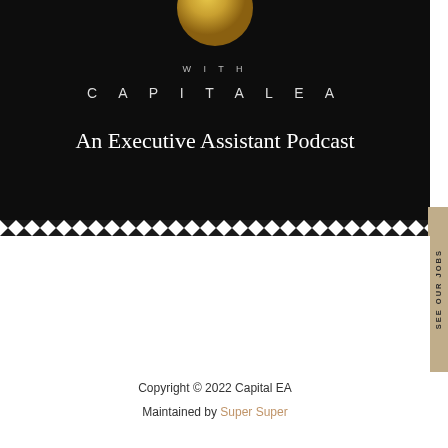[Figure (illustration): Podcast cover art for 'Capital EA - An Executive Assistant Podcast'. Dark/black background with a gold circular logo at top, text 'WITH' in small spaced caps, then 'CAPITAL EA' in large spaced caps, and 'An Executive Assistant Podcast' in large serif font. Bottom border has a decorative zigzag/chevron pattern in black and white.]
Copyright © 2022 Capital EA
Maintained by Super Super